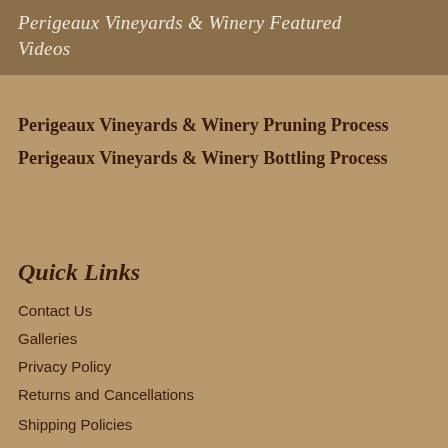Perigeaux Vineyards & Winery Featured Videos
Perigeaux Vineyards & Winery Pruning Process
Perigeaux Vineyards & Winery Bottling Process
Quick Links
Contact Us
Galleries
Privacy Policy
Returns and Cancellations
Shipping Policies